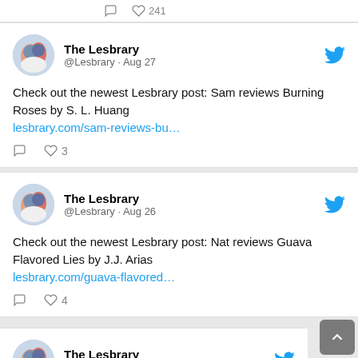[Figure (screenshot): Twitter/social media feed screenshot showing tweets from The Lesbrary account. Partial first tweet at top showing like count 241. Second tweet (Aug 27): Check out the newest Lesbrary post: Sam reviews Burning Roses by S. L. Huang, with link and 3 likes. Third tweet (Aug 26): Check out the newest Lesbrary post: Nat reviews Guava Flavored Lies by J.J. Arias, with link and 4 likes. Fourth tweet (Aug 23) partially visible. Back-to-top button in lower right.]